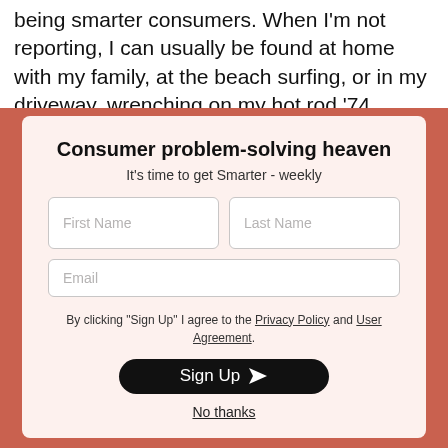being smarter consumers. When I'm not reporting, I can usually be found at home with my family, at the beach surfing, or in my driveway, wrenching on my hot rod '74
Consumer problem-solving heaven
It's time to get Smarter - weekly
By clicking "Sign Up" I agree to the Privacy Policy and User Agreement.
Sign Up
No thanks